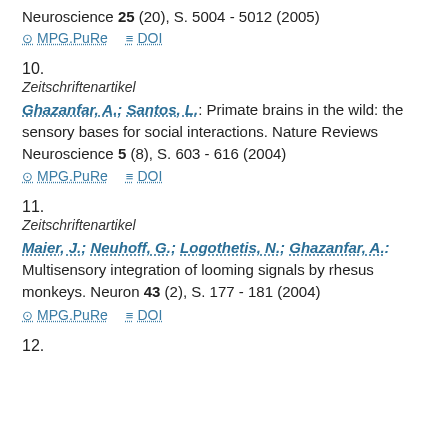Neuroscience 25 (20), S. 5004 - 5012 (2005)
MPG.PuRe   DOI
10.
Zeitschriftenartikel
Ghazanfar, A.; Santos, L.: Primate brains in the wild: the sensory bases for social interactions. Nature Reviews Neuroscience 5 (8), S. 603 - 616 (2004)
MPG.PuRe   DOI
11.
Zeitschriftenartikel
Maier, J.; Neuhoff, G.; Logothetis, N.; Ghazanfar, A.: Multisensory integration of looming signals by rhesus monkeys. Neuron 43 (2), S. 177 - 181 (2004)
MPG.PuRe   DOI
12.